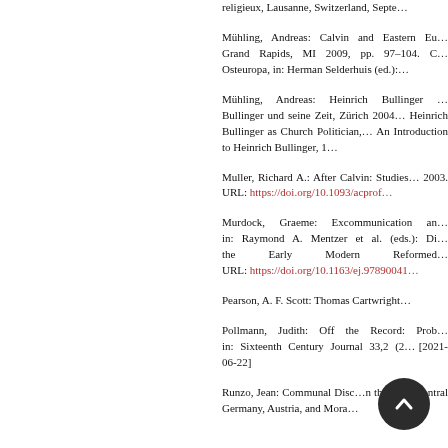religieux, Lausanne, Switzerland, Septe…
Mühling, Andreas: Calvin and Eastern Eu… Grand Rapids, MI 2009, pp. 97–104. C… Osteuropa, in: Herman Selderhuis (ed.):…
Mühling, Andreas: Heinrich Bullinger … Bullinger und seine Zeit, Zürich 2004… Heinrich Bullinger as Church Politician,… An Introduction to Heinrich Bullinger, 1…
Muller, Richard A.: After Calvin: Studies… 2003. URL: https://doi.org/10.1093/acprof…
Murdock, Graeme: Excommunication an… in: Raymond A. Mentzer et al. (eds.): Di… the Early Modern Reformed… URL: https://doi.org/10.1163/ej.97890041…
Pearson, A. F. Scott: Thomas Cartwright…
Pollmann, Judith: Off the Record: Prob… in: Sixteenth Century Journal 33,2 (2… [2021-06-22]
Runzo, Jean: Communal Disc… n th… and Central Germany, Austria, and Mora…